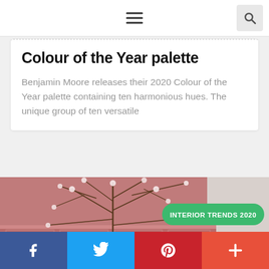Navigation bar with hamburger menu and search button
Colour of the Year palette
Benjamin Moore releases their 2020 Colour of the Year palette containing ten harmonious hues. The unique group of ten versatile
[Figure (photo): Photo of pink/rose-painted wall with white wainscoting paneling, and bare branches with white blossoms in a vase in foreground. Green badge overlay reads INTERIOR TRENDS 2020.]
Social sharing bar: Facebook, Twitter, Pinterest, Plus